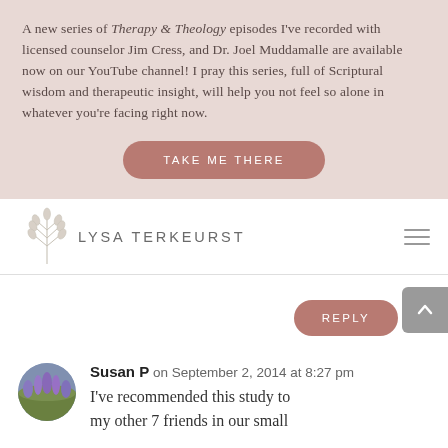A new series of Therapy & Theology episodes I've recorded with licensed counselor Jim Cress, and Dr. Joel Muddamalle are available now on our YouTube channel! I pray this series, full of Scriptural wisdom and therapeutic insight, will help you not feel so alone in whatever you're facing right now.
TAKE ME THERE
[Figure (logo): Lysa TerKeurst website logo with decorative wheat/floral illustration above the text]
REPLY
Susan P on September 2, 2014 at 8:27 pm
I've recommended this study to my other 7 friends in our small